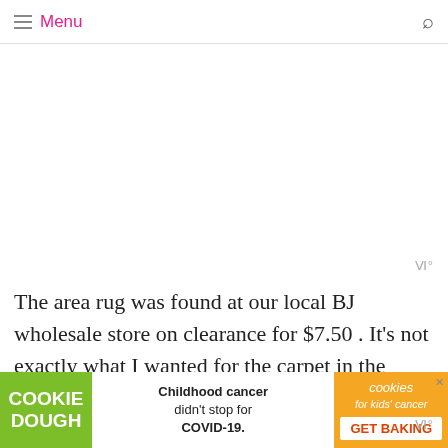Menu
[Figure (other): Blank white advertisement area placeholder]
The area rug was found at our local BJ wholesale store on clearance for $7.50 . It's not exactly what I wanted for the carpet in the room but I think it really brought in some great color and personality
[Figure (other): Cookie Dough / Childhood cancer didn't stop for COVID-19. / cookies for kids cancer GET BAKING advertisement banner]